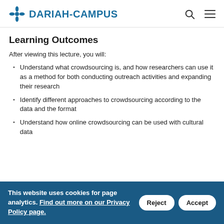DARIAH-CAMPUS
Learning Outcomes
After viewing this lecture, you will:
Understand what crowdsourcing is, and how researchers can use it as a method for both conducting outreach activities and expanding their research
Identify different approaches to crowdsourcing according to the data and the format
Understand how online crowdsourcing can be used with cultural data
This website uses cookies for page analytics. Find out more on our Privacy Policy page.